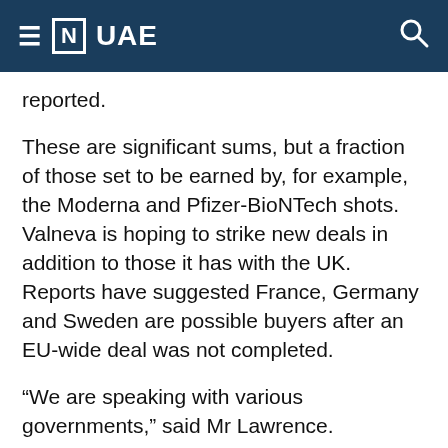≡ [N] UAE
reported.
These are significant sums, but a fraction of those set to be earned by, for example, the Moderna and Pfizer-BioNTech shots. Valneva is hoping to strike new deals in addition to those it has with the UK. Reports have suggested France, Germany and Sweden are possible buyers after an EU-wide deal was not completed.
“We are speaking with various governments,” said Mr Lawrence.
“We believe that our inactivated vaccine can make a major contribution to the ongoing fight